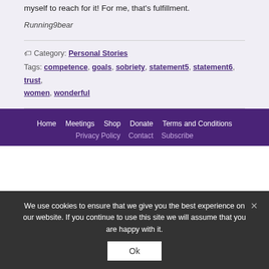myself to reach for it! For me, that's fulfillment.
Running9bear
Category: Personal Stories
Tags: competence, goals, sobriety, statement5, statement6, trust, women, wonderful
Home  Meetings  Shop  Donate  Terms and Conditions  Privacy Policy  Contact  Subscribe
We use cookies to ensure that we give you the best experience on our website. If you continue to use this site we will assume that you are happy with it.
Ok